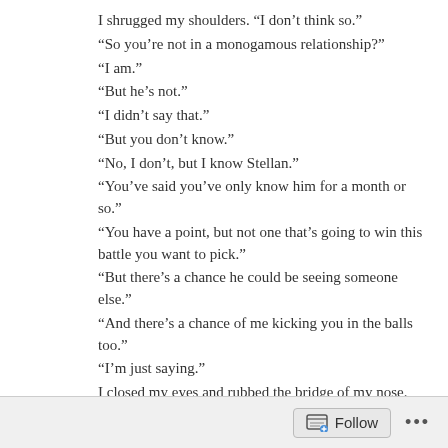I shrugged my shoulders.  “I don’t think so.”
“So you’re not in a monogamous relationship?”
“I am.”
“But he’s not.”
“I didn’t say that.”
“But you don’t know.”
“No, I don’t, but I know Stellan.”
“You’ve said you’ve only know him for a month or so.”
“You have a point, but not one that’s going to win this battle you want to pick.”
“But there’s a chance he could be seeing someone else.”
“And there’s a chance of me kicking you in the balls too.”
“I’m just saying.”
I closed my eyes and rubbed the bridge of my nose.  “You’re not saying anything.  You’re just spewing poison and I don’t need that.  I’ve done everything to keep this friendship floating and you are punching holes in the boat.  I know you don’t like that I’m dating someone.  I’m trying hard to balance things, but you don’t make it easy for me Roman.”
Follow  ...